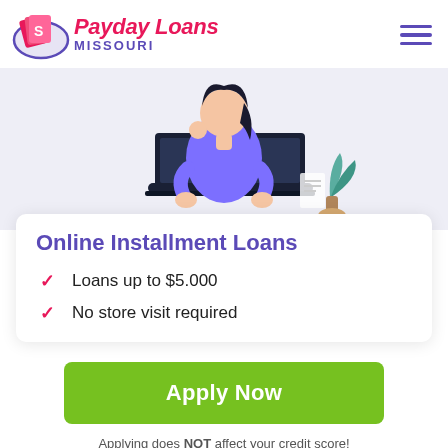[Figure (logo): Payday Loans Missouri logo with dollar sign icon, pink and purple colors]
[Figure (illustration): Woman sitting at laptop, cartoon illustration, purple/blue background]
Online Installment Loans
Loans up to $5.000
No store visit required
Apply Now
Applying does NOT affect your credit score! No credit check to apply.